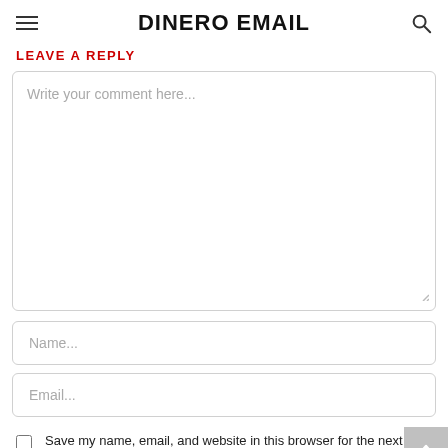DINERO EMAIL
LEAVE A REPLY
Write your comment here...
Name...
Email...
Save my name, email, and website in this browser for the next time I